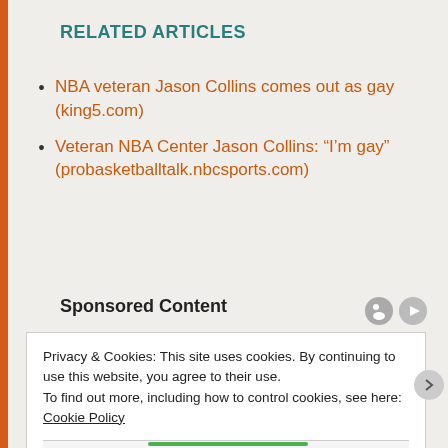RELATED ARTICLES
NBA veteran Jason Collins comes out as gay (king5.com)
Veteran NBA Center Jason Collins: “I’m gay” (probasketballtalk.nbcsports.com)
Sponsored Content
[Figure (photo): Partial photo of a person in front of a purple/mauve background, partially obscured by cookie consent overlay]
Privacy & Cookies: This site uses cookies. By continuing to use this website, you agree to their use.
To find out more, including how to control cookies, see here: Cookie Policy
Close and accept